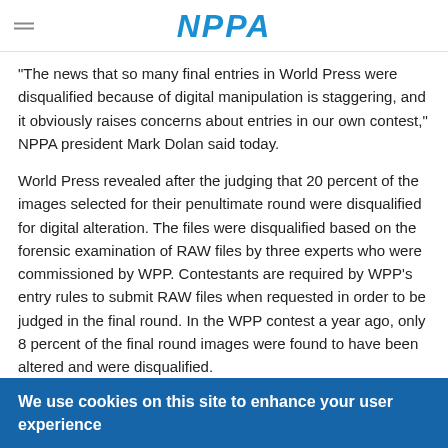NPPA
"The news that so many final entries in World Press were disqualified because of digital manipulation is staggering, and it obviously raises concerns about entries in our own contest," NPPA president Mark Dolan said today.
World Press revealed after the judging that 20 percent of the images selected for their penultimate round were disqualified for digital alteration. The files were disqualified based on the forensic examination of RAW files by three experts who were commissioned by WPP. Contestants are required by WPP's entry rules to submit RAW files when requested in order to be judged in the final round. In the WPP contest a year ago, only 8 percent of the final round images were found to have been altered and were disqualified.
We use cookies on this site to enhance your user experience